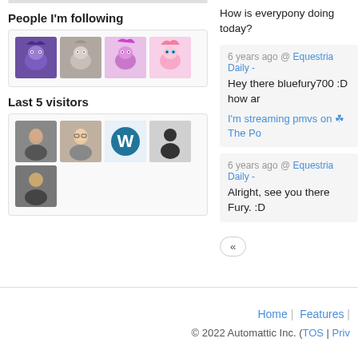People I'm following
[Figure (photo): Four avatar images of people/characters being followed]
Last 5 visitors
[Figure (photo): Five avatar images of the last 5 visitors]
How is everypony doing today?
6 years ago @ Equestria Daily -
Hey there bluefury700 :D how ar
I'm streaming pmvs on ☘The Po
6 years ago @ Equestria Daily -
Alright, see you there Fury. :D
«
Home | Features | © 2022 Automattic Inc. (TOS | Priv